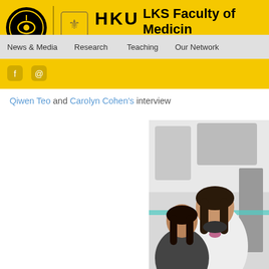HKU LKS Faculty of Medicine
News & Media   Research   Teaching   Our Network
Qiwen Teo and Carolyn Cohen's interview
[Figure (photo): Photo of two women in a laboratory setting, one wearing a white lab coat, viewed from behind/side angle with lab equipment in background]